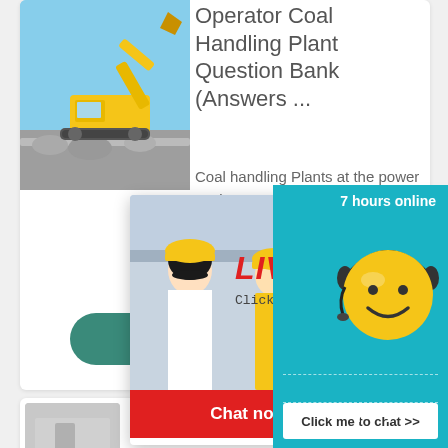[Figure (photo): Yellow excavator/coal handling machinery at a power station against blue sky]
Operator Coal Handling Plant Question Bank (Answers ...
Coal handling Plants at the power station are designed to receive coal a. Upto 400 mm size (with occasional size upto 600 mm) ... Primary
consumed in .
More
[Figure (photo): Live Chat popup with workers in hard hats and a smiley face customer support icon]
LIVE CHAT
Click for a Free Consultation
Chat now
Chat later
7 hours online
Click me to chat >>
Enquiry
superbrian707@gm
specification of coal